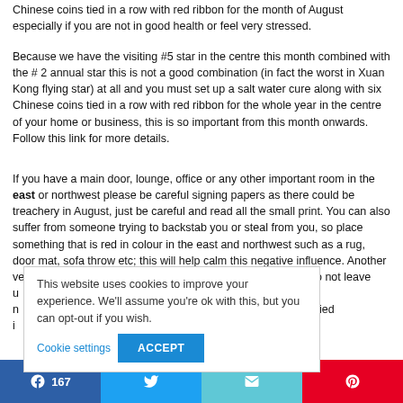Chinese coins tied in a row with red ribbon for the month of August especially if you are not in good health or feel very stressed.
Because we have the visiting #5 star in the centre this month combined with the # 2 annual star this is not a good combination (in fact the worst in Xuan Kong flying star) at all and you must set up a salt water cure along with six Chinese coins tied in a row with red ribbon for the whole year in the centre of your home or business, this is so important from this month onwards. Follow this link for more details.
If you have a main door, lounge, office or any other important room in the east or northwest please be careful signing papers as there could be treachery in August, just be careful and read all the small print. You can also suffer from someone trying to backstab you or steal from you, so place something that is red in colour in the east and northwest such as a rug, door mat, sofa throw etc; this will help calm this negative influence. Another very powerful cure is to burn a t... and do not leave u... Buddha in the east and n... h... six Chinese coins tied i... ally if you have an i...
This website uses cookies to improve your experience. We'll assume you're ok with this, but you can opt-out if you wish.
Cookie settings
ACCEPT
167 (Facebook share) | Twitter share | Email share | Pinterest share